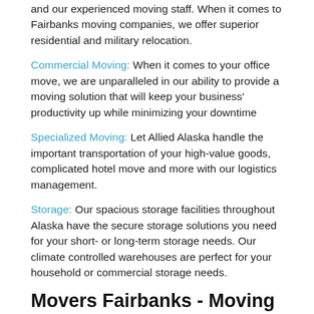and our experienced moving staff. When it comes to Fairbanks moving companies, we offer superior residential and military relocation.
Commercial Moving: When it comes to your office move, we are unparalleled in our ability to provide a moving solution that will keep your business' productivity up while minimizing your downtime
Specialized Moving: Let Allied Alaska handle the important transportation of your high-value goods, complicated hotel move and more with our logistics management.
Storage: Our spacious storage facilities throughout Alaska have the secure storage solutions you need for your short- or long-term storage needs. Our climate controlled warehouses are perfect for your household or commercial storage needs.
Movers Fairbanks - Moving Company Fairbanks
Want to find out more information about our capabilities as Fairbank movers? Contact Allied Alaska today to talk with one of our dedicated professionals about your upcoming relocation and storage needs. Request a FREE estimate from your Fairbanks